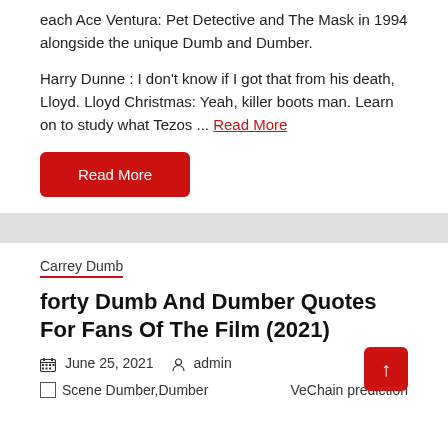each Ace Ventura: Pet Detective and The Mask in 1994 alongside the unique Dumb and Dumber.
Harry Dunne : I don't know if I got that from his death, Lloyd. Lloyd Christmas: Yeah, killer boots man. Learn on to study what Tezos ... Read More
Read More (button)
Carrey Dumb
forty Dumb And Dumber Quotes For Fans Of The Film (2021)
June 25, 2021  admin
Scene Dumber,Dumber
VeChain prediction